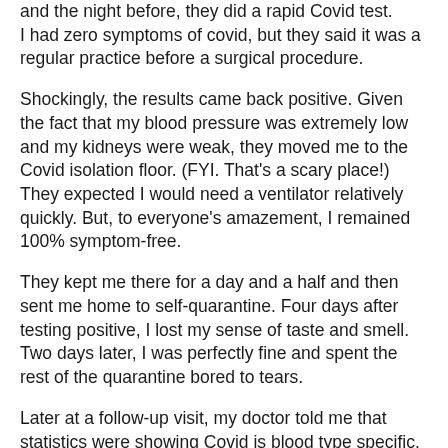and the night before, they did a rapid Covid test. I had zero symptoms of covid, but they said it was a regular practice before a surgical procedure.
Shockingly, the results came back positive. Given the fact that my blood pressure was extremely low and my kidneys were weak, they moved me to the Covid isolation floor. (FYI. That's a scary place!) They expected I would need a ventilator relatively quickly. But, to everyone's amazement, I remained 100% symptom-free.
They kept me there for a day and a half and then sent me home to self-quarantine. Four days after testing positive, I lost my sense of taste and smell. Two days later, I was perfectly fine and spent the rest of the quarantine bored to tears.
Later at a follow-up visit, my doctor told me that statistics were showing Covid is blood type specific. People with Type A were much